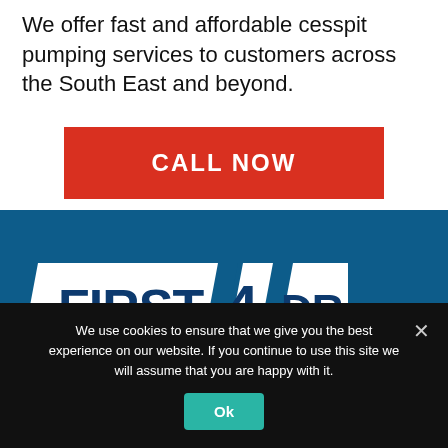We offer fast and affordable cesspit pumping services to customers across the South East and beyond.
[Figure (other): Red 'CALL NOW' button]
[Figure (logo): First 4 Drains logo on dark blue background]
We use cookies to ensure that we give you the best experience on our website. If you continue to use this site we will assume that you are happy with it.